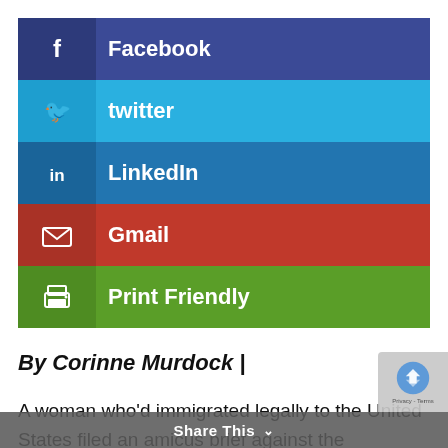[Figure (infographic): Social share widget with 5 rows: Facebook (dark blue), twitter (light blue), LinkedIn (medium blue), Gmail (red), Print Friendly (green). Each row has an icon on the left and bold white label text.]
By Corinne Murdock |
A woman who'd immigrated legally to the United States filed an amicus brief against the sheltering of migrants in a Scottsdale hot[el]. Concerning the June 4 filing, the woman, Yvonne Cahill, told AZ Free News that she'd
Share This